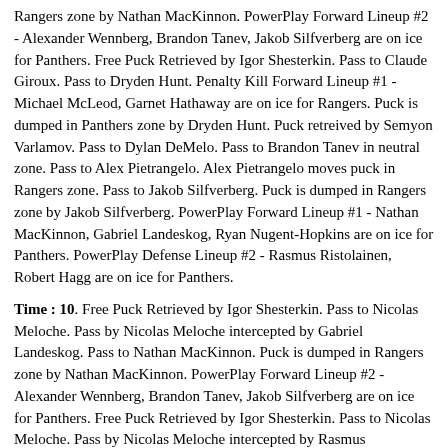Rangers zone by Nathan MacKinnon. PowerPlay Forward Lineup #2 - Alexander Wennberg, Brandon Tanev, Jakob Silfverberg are on ice for Panthers. Free Puck Retrieved by Igor Shesterkin. Pass to Claude Giroux. Pass to Dryden Hunt. Penalty Kill Forward Lineup #1 - Michael McLeod, Garnet Hathaway are on ice for Rangers. Puck is dumped in Panthers zone by Dryden Hunt. Puck retreived by Semyon Varlamov. Pass to Dylan DeMelo. Pass to Brandon Tanev in neutral zone. Pass to Alex Pietrangelo. Alex Pietrangelo moves puck in Rangers zone. Pass to Jakob Silfverberg. Puck is dumped in Rangers zone by Jakob Silfverberg. PowerPlay Forward Lineup #1 - Nathan MacKinnon, Gabriel Landeskog, Ryan Nugent-Hopkins are on ice for Panthers. PowerPlay Defense Lineup #2 - Rasmus Ristolainen, Robert Hagg are on ice for Panthers.
Time : 10. Free Puck Retrieved by Igor Shesterkin. Pass to Nicolas Meloche. Pass by Nicolas Meloche intercepted by Gabriel Landeskog. Pass to Nathan MacKinnon. Puck is dumped in Rangers zone by Nathan MacKinnon. PowerPlay Forward Lineup #2 - Alexander Wennberg, Brandon Tanev, Jakob Silfverberg are on ice for Panthers. Free Puck Retrieved by Igor Shesterkin. Pass to Nicolas Meloche. Pass by Nicolas Meloche intercepted by Rasmus Ristolainen in neutral zone. PowerPlay Forward Lineup #1 - Nathan MacKinnon, Gabriel Landeskog, Ryan Nugent-Hopkins are on ice for Panthers. Puck is dumped in Rangers zone by Rasmus Ristolainen. PowerPlay Forward Lineup #2 - Alexander